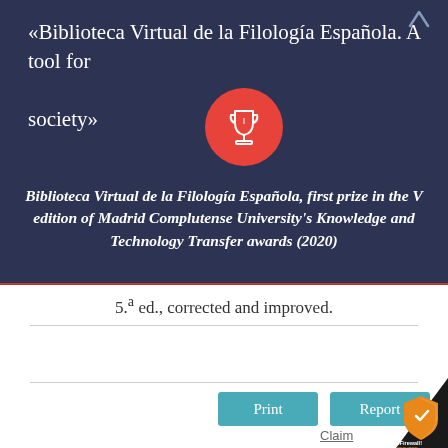«Biblioteca Virtual de la Filología Española. A tool for society»
[Figure (illustration): Red circular badge with a white trophy/cup icon]
Biblioteca Virtual de la Filología Española, first prize in the V edition of Madrid Complutense University's Knowledge and Technology Transfer awards (2020)
5.ª ed., corrected and improved.
[Figure (other): Print button (teal/cyan rectangular button)]
[Figure (other): Report button (teal/cyan rectangular button)]
Claim
[Figure (logo): RSFirewall! SECURED orange shield badge in bottom right corner]